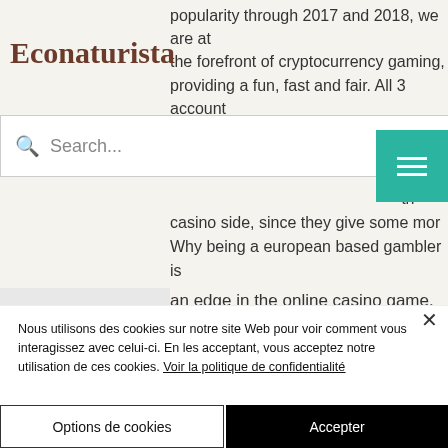Econaturista
popularity through 2017 and 2018, we are at the forefront of cryptocurrency gaming, providing a fun, fast and fair. All 3 account types have the same benefits on the casino side, since they give some more. Why being a european based gambler is great. If you are based in europe you can get an edge in the online casino game. Many eu casinos allow you. Stake is the ultimate betting experience. Instantly deposit and withdraw bitcoin, ethereum, doge, visa, &amp; more. Main sponsor of watford. Read
Nous utilisons des cookies sur notre site Web pour voir comment vous interagissez avec celui-ci. En les acceptant, vous acceptez notre utilisation de ces cookies. Voir la politique de confidentialité
Options de cookies
Accepter